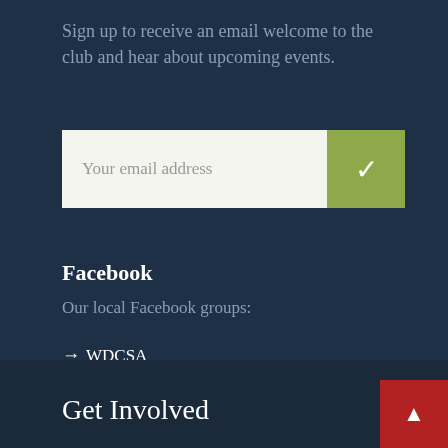Sign up to receive an email welcome to the club and hear about upcoming events.
[Figure (screenshot): Email signup form with a white input field labeled 'Your email address' and a green checkmark submit button]
Facebook
Our local Facebook groups:
→ WDCSA
→ Cardinal Young Alumni
Get Involved